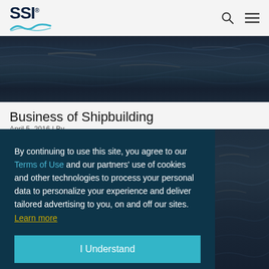SSI
[Figure (photo): Dark ocean water surface texture — wave patterns with blue-gray tones]
Business of Shipbuilding
April 5, 2016 | By...
By continuing to use this site, you agree to our Terms of Use and our partners' use of cookies and other technologies to process your personal data to personalize your experience and deliver tailored advertising to you, on and off our sites. Learn more
I Understand